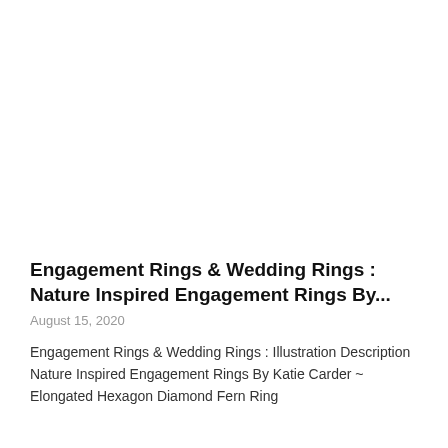Engagement Rings & Wedding Rings : Nature Inspired Engagement Rings By...
August 15, 2020
Engagement Rings & Wedding Rings : Illustration Description Nature Inspired Engagement Rings By Katie Carder ~ Elongated Hexagon Diamond Fern Ring